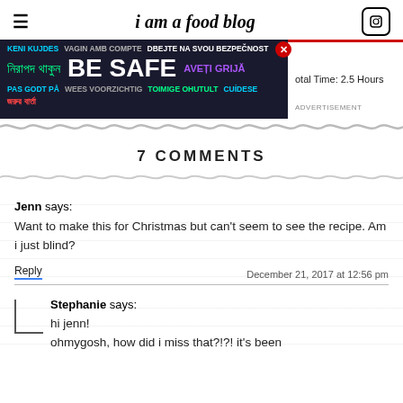i am a food blog
[Figure (other): Advertisement banner with multilingual safety message and close button. Shows 'BE SAFE' in large white text with text in multiple languages. Right side shows 'Total Time: 2.5 Hours' and 'ADVERTISEMENT' label.]
7 COMMENTS
Jenn says:
Want to make this for Christmas but can't seem to see the recipe. Am i just blind?
Reply
December 21, 2017 at 12:56 pm
Stephanie says:
hi jenn!
ohmygosh, how did i miss that?!?! it's been